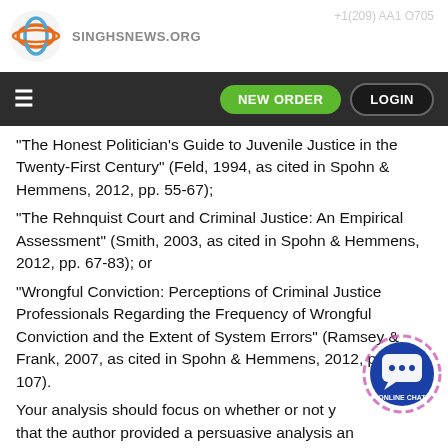singhsnews.org | NEW ORDER | LOGIN
“The Honest Politician’s Guide to Juvenile Justice in the Twenty-First Century” (Feld, 1994, as cited in Spohn & Hemmens, 2012, pp. 55-67);
“The Rehnquist Court and Criminal Justice: An Empirical Assessment” (Smith, 2003, as cited in Spohn & Hemmens, 2012, pp. 67-83); or
“Wrongful Conviction: Perceptions of Criminal Justice Professionals Regarding the Frequency of Wrongful Conviction and the Extent of System Errors” (Ramsey & Frank, 2007, as cited in Spohn & Hemmens, 2012, pp. 83-107).
Your analysis should focus on whether or not y... that the author provided a persuasive analysis and your reasoning for your conclusion. It is recommended that your post contain approximately 400 words.